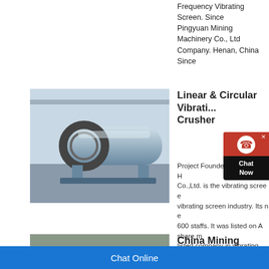Frequency Vibrating Screen. Since Pingyuan Mining Machinery Co., Ltd Company. Henan, China Since
[Figure (photo): Industrial ball mill machine in a factory setting, showing a large cylindrical grey drum with gear ring.]
Linear & Circular Vibrating Screen Crusher
Project Founded in 1994, Ans H Co.,Ltd. is the vibrating screen e vibrating screen industry. Its n e 600 staffs. It was listed on A share m listed company in vibrating screen i
[Figure (photo): Industrial mining site with pipes, structures and machinery, outdoor setting.]
China Mining Screen, M Manufacturers
Sourcing Guide for Mining Screen: C full of strong and consistent exporte China factories that produce f
Chat Online